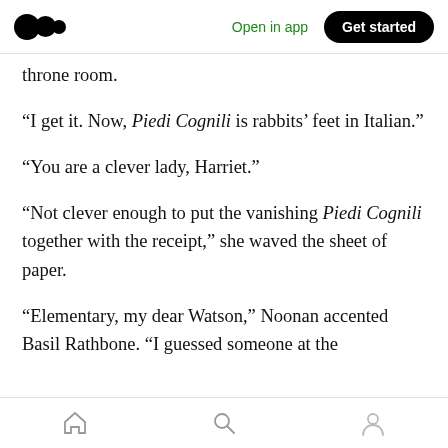Medium app header with logo, Open in app, Get started
throne room.
“I get it. Now, Piedi Cognili is rabbits’ feet in Italian.”
“You are a clever lady, Harriet.”
“Not clever enough to put the vanishing Piedi Cognili together with the receipt,” she waved the sheet of paper.
“Elementary, my dear Watson,” Noonan accented Basil Rathbone. “I guessed someone at the
Bottom navigation bar with home, search, profile icons